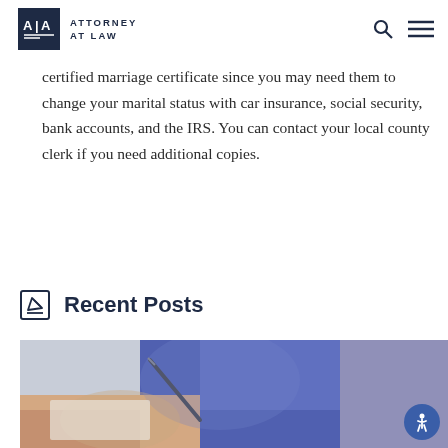ATTORNEY AT LAW
certified marriage certificate since you may need them to change your marital status with car insurance, social security, bank accounts, and the IRS. You can contact your local county clerk if you need additional copies.
Recent Posts
[Figure (photo): Person in blue shirt writing or signing a document with a pen, blurred/bokeh background]